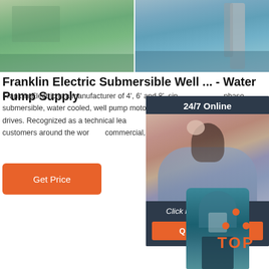[Figure (photo): Two photos side by side showing water/pump installation scenes]
Franklin Electric Submersible Well ... - Water Pump Supply
Franklin Electric is a manufacturer of 4', 6' and 8', single and three phase submersible, water cooled, well pump motors, and inverter variable speed drives. Recognized as a technical leader in pump specialty, Franklin serves customers around the world in commercial, agricultural, industrial, …
[Figure (photo): 24/7 Online chat widget with customer service representative and QUOTATION button]
[Figure (photo): Blue submersible pump motor photo]
[Figure (logo): TOP logo with orange dots arranged in triangle above orange TOP text]